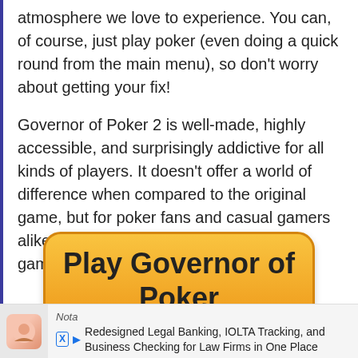atmosphere we love to experience. You can, of course, just play poker (even doing a quick round from the main menu), so don't worry about getting your fix!
Governor of Poker 2 is well-made, highly accessible, and surprisingly addictive for all kinds of players. It doesn't offer a world of difference when compared to the original game, but for poker fans and casual gamers alike, you'll find something to love in this game.
[Figure (other): Orange gradient button labeled 'Play Governor of Poker 2' with rounded corners and dark border]
Nota
Redesigned Legal Banking, IOLTA Tracking, and Business Checking for Law Firms in One Place